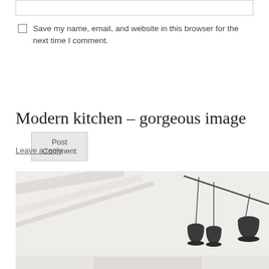[input box]
Save my name, email, and website in this browser for the next time I comment.
Post Comment
Modern kitchen – gorgeous image
Leave a reply
[Figure (photo): Modern kitchen interior with pendant lights hanging from a rail against a white/light background. Three dark conical pendant lamps suspended from a horizontal rod.]